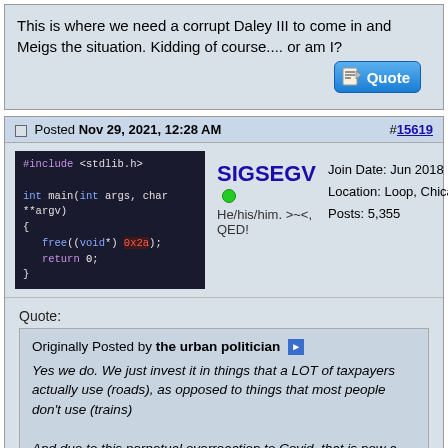This is where we need a corrupt Daley III to come in and Meigs the situation. Kidding of course.... or am I?
Posted Nov 29, 2021, 12:28 AM #15619
[Figure (screenshot): Code avatar showing C code with #include <stdlib.h> and free((void*) 0x2a)]
SIGSEGV He/his/him. >~<, QED!
Join Date: Jun 2018 Location: Loop, Chicago Posts: 5,355
Quote:
Originally Posted by the urban politician
Yes we do. We just invest it in things that a LOT of taxpayers actually use (roads), as opposed to things that most people don't use (trains)

And due to this perpetual overreaction to Covid, that is now a permanent state of affairs.

How often do you personally ride the L? You live in Chicago.

That's an expensive as hell system to maintain, and only makes sense when a massive number of people ride it a LOT. CTA trains are half empty. Meanwhile roads...